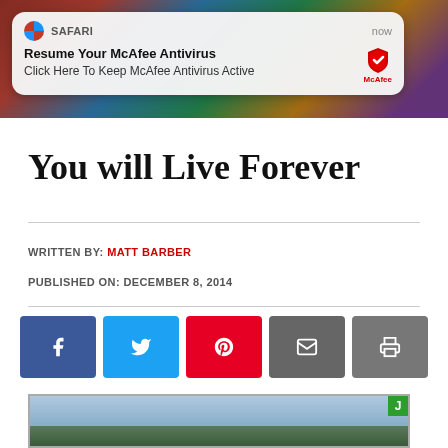[Figure (screenshot): Screenshot of a Safari browser push notification. Notification reads: 'Resume Your McAfee Antivirus / Click Here To Keep McAfee Antivirus Active'. App name shows SAFARI, timestamp shows 'now'. McAfee shield logo appears on right.]
You will Live Forever
WRITTEN BY: MATT BARBER
PUBLISHED ON: DECEMBER 8, 2014
[Figure (screenshot): Social sharing buttons row: Facebook (blue), Twitter (light blue), Pinterest (red), Email (gray), Print (gray)]
[Figure (photo): Partial bottom image, appears to be an outdoor scene, with a green 'J' badge in the top right corner]